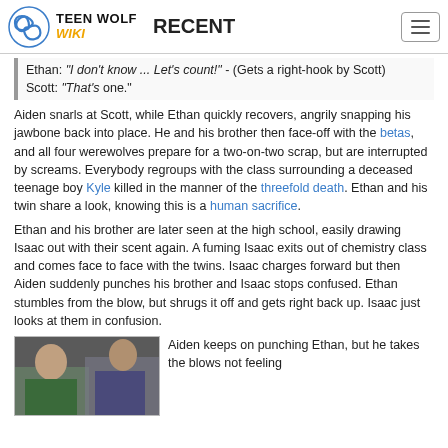Teen Wolf Wiki — RECENT
Ethan: "I don't know ... Let's count!" - (Gets a right-hook by Scott)
Scott: "That's one."
Aiden snarls at Scott, while Ethan quickly recovers, angrily snapping his jawbone back into place. He and his brother then face-off with the betas, and all four werewolves prepare for a two-on-two scrap, but are interrupted by screams. Everybody regroups with the class surrounding a deceased teenage boy Kyle killed in the manner of the threefold death. Ethan and his twin share a look, knowing this is a human sacrifice.
Ethan and his brother are later seen at the high school, easily drawing Isaac out with their scent again. A fuming Isaac exits out of chemistry class and comes face to face with the twins. Isaac charges forward but then Aiden suddenly punches his brother and Isaac stops confused. Ethan stumbles from the blow, but shrugs it off and gets right back up. Isaac just looks at them in confusion.
[Figure (photo): A photo thumbnail showing two people, likely characters from Teen Wolf]
Aiden keeps on punching Ethan, but he takes the blows not feeling